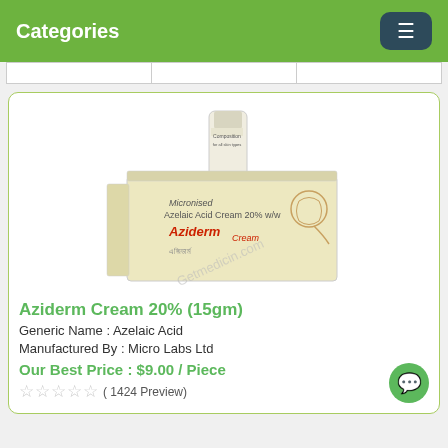Categories
[Figure (photo): Product photo of Aziderm Cream 20% (15gm) — a cream tube and box by Micro Labs Ltd. Box shows 'Micronised Azelaic Acid Cream 20% w/w Aziderm Cream' with a diagonal watermark reading 'Getmedicin.com']
Aziderm Cream 20% (15gm)
Generic Name : Azelaic Acid
Manufactured By : Micro Labs Ltd
Our Best Price : $9.00 / Piece
( 1424 Preview)